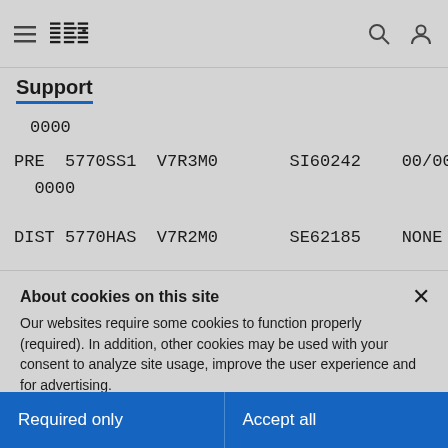IBM Support
0000
PRE  5770SS1  V7R3M0  SI60242  00/00
0000
DIST 5770HAS  V7R2M0  SE62185  NONE
About cookies on this site
Our websites require some cookies to function properly (required). In addition, other cookies may be used with your consent to analyze site usage, improve the user experience and for advertising.

For more information, please review your Cookie preferences options and IBM's privacy statement.
Required only
Accept all